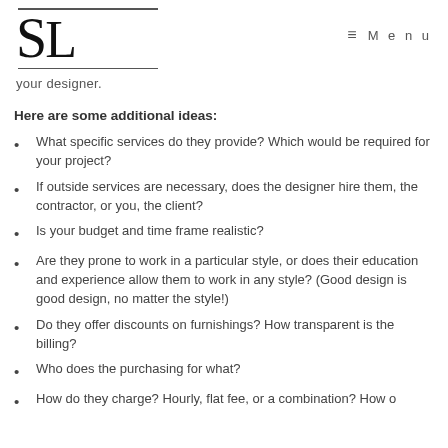[Figure (logo): SL logo with decorative lines above and below, serif font]
≡  M e n u
your designer.
Here are some additional ideas:
What specific services do they provide? Which would be required for your project?
If outside services are necessary, does the designer hire them, the contractor, or you, the client?
Is your budget and time frame realistic?
Are they prone to work in a particular style, or does their education and experience allow them to work in any style? (Good design is good design, no matter the style!)
Do they offer discounts on furnishings? How transparent is the billing?
Who does the purchasing for what?
How do they charge? Hourly, flat fee, or a combination? How o...